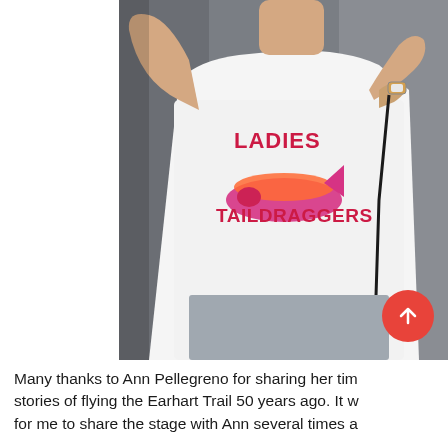[Figure (photo): A person wearing a white t-shirt that reads 'LADIES TAILDRAGGERS' with an image of a small aircraft, holding a microphone cord, with one hand raised, standing in front of a grey background.]
Many thanks to Ann Pellegreno for sharing her tim stories of flying the Earhart Trail 50 years ago. It w for me to share the stage with Ann several times a